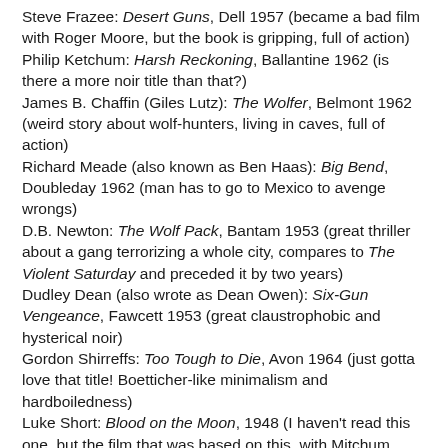Steve Frazee: Desert Guns, Dell 1957 (became a bad film with Roger Moore, but the book is gripping, full of action)
Philip Ketchum: Harsh Reckoning, Ballantine 1962 (is there a more noir title than that?)
James B. Chaffin (Giles Lutz): The Wolfer, Belmont 1962 (weird story about wolf-hunters, living in caves, full of action)
Richard Meade (also known as Ben Haas): Big Bend, Doubleday 1962 (man has to go to Mexico to avenge wrongs)
D.B. Newton: The Wolf Pack, Bantam 1953 (great thriller about a gang terrorizing a whole city, compares to The Violent Saturday and preceded it by two years)
Dudley Dean (also wrote as Dean Owen): Six-Gun Vengeance, Fawcett 1953 (great claustrophobic and hysterical noir)
Gordon Shirreffs: Too Tough to Die, Avon 1964 (just gotta love that title! Boetticher-like minimalism and hardboiledness)
Luke Short: Blood on the Moon, 1948 (I haven't read this one, but the film that was based on this, with Mitchum, would be just too great to pass)